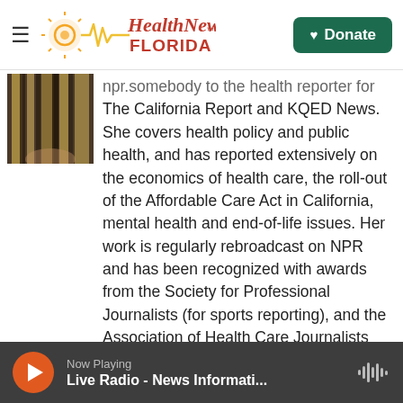Health News Florida — Navigation header with hamburger menu, logo, and Donate button
[Figure (photo): Partial photo of a person with highlighted/blonde hair, cropped at top of content area]
npr.somebody to the health reporter for The California Report and KQED News. She covers health policy and public health, and has reported extensively on the economics of health care, the roll-out of the Affordable Care Act in California, mental health and end-of-life issues. Her work is regularly rebroadcast on NPR and has been recognized with awards from the Society for Professional Journalists (for sports reporting), and the Association of Health Care Journalists (for a story about pediatric hospice). Her hour-long radio documentary about home funeralswon the Best New Artist award from the Third Coast International Audio
Now Playing — Live Radio - News Informati...